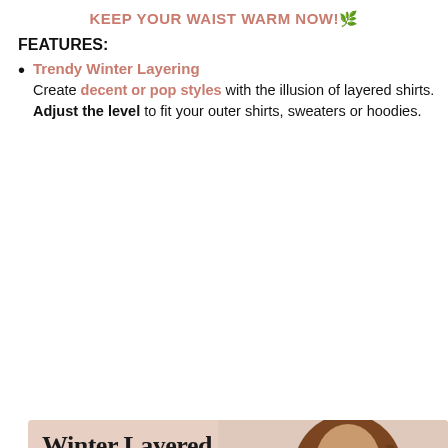KEEP YOUR WAIST WARM NOW! 🌿
FEATURES:
Trendy Winter Layering — Create decent or pop styles with the illusion of layered shirts. Adjust the level to fit your outer shirts, sweaters or hoodies.
[Figure (photo): Product advertisement image for 'Winter Layered FAKE INNER TOP' showing a model in a gray layered sweater with a pink waistband visible underneath, and two style inspiration photos (casual leather pants and camel sweater look; chic black mini skirt with a gray blazer look). Text reads 'Winter Layered FAKE INNER TOP' and 'Casual Style' at bottom.]